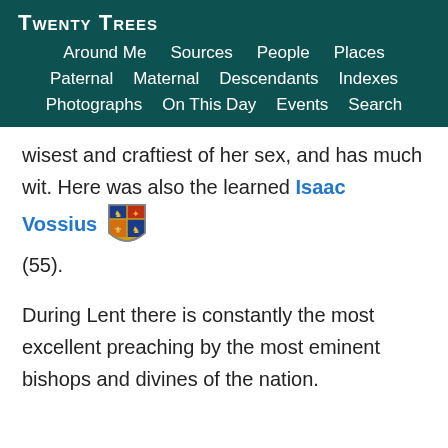Twenty Trees
Around Me  Sources  People  Places  Paternal  Maternal  Descendants  Indexes  Photographs  On This Day  Events  Search
wisest and craftiest of her sex, and has much wit. Here was also the learned Isaac Vossius (55).
During Lent there is constantly the most excellent preaching by the most eminent bishops and divines of the nation.